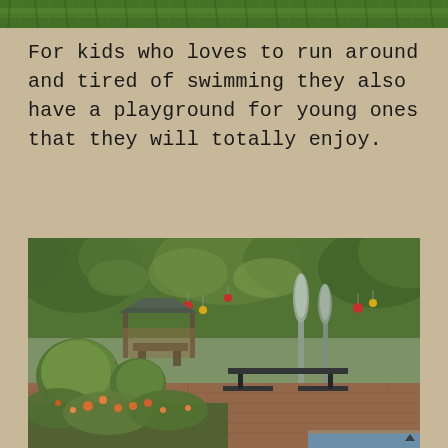[Figure (photo): Top strip showing green grass/lawn texture]
For kids who loves to run around and tired of swimming they also have a playground for young ones that they will totally enjoy.
[Figure (photo): Outdoor garden/patio area with lush tropical greenery, a gazebo/thatched roof pavilion, picnic tables, closed umbrellas, rounded topiary shrubs, orange flowering plants in the foreground, and a pool edge visible at bottom right.]